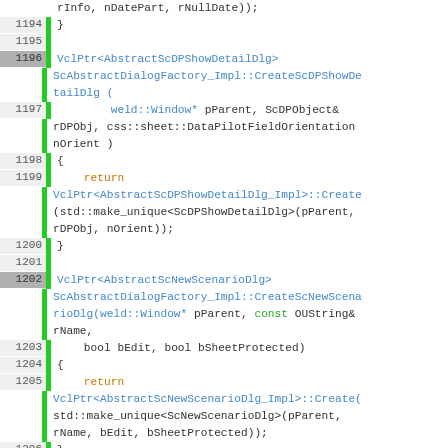Source code listing lines 1194-1210 showing C++ implementation of ScAbstractDialogFactory_Impl methods including CreateScDPShowDetailDlg, CreateScNewScenarioDlg, and CreateScShowTabDlg